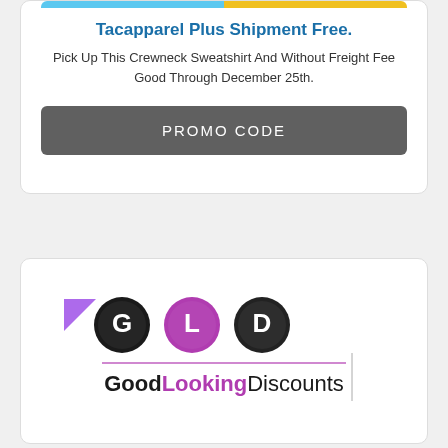[Figure (screenshot): Top portion of product image strip (blue and yellow colors visible)]
Tacapparel Plus Shipment Free.
Pick Up This Crewneck Sweatshirt And Without Freight Fee Good Through December 25th.
PROMO CODE
[Figure (logo): GoodLookingDiscounts logo with GLD circular icons and text]